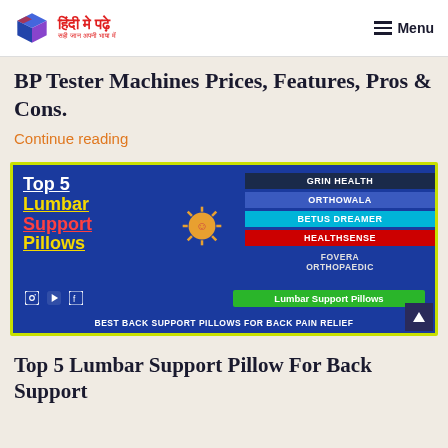हिंदी मे पढ़े — Menu
BP Tester Machines Prices, Features, Pros & Cons.
Continue reading
[Figure (illustration): Promotional banner for Top 5 Lumbar Support Pillows featuring brand names: Grin Health, Orthowala, Betus Dreamer, Healthsense, Fovera Orthopaedic. Text: BEST BACK SUPPORT PILLOWS FOR BACK PAIN RELIEF]
Top 5 Lumbar Support Pillow For Back Support